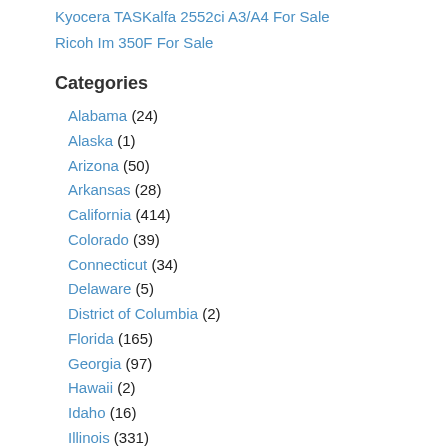Kyocera TASKalfa 2552ci A3/A4 For Sale
Ricoh Im 350F For Sale
Categories
Alabama (24)
Alaska (1)
Arizona (50)
Arkansas (28)
California (414)
Colorado (39)
Connecticut (34)
Delaware (5)
District of Columbia (2)
Florida (165)
Georgia (97)
Hawaii (2)
Idaho (16)
Illinois (331)
Indiana (65)
Iowa (36)